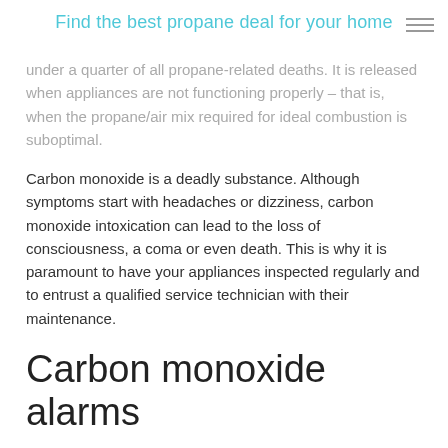Find the best propane deal for your home
under a quarter of all propane-related deaths. It is released when appliances are not functioning properly – that is, when the propane/air mix required for ideal combustion is suboptimal.
Carbon monoxide is a deadly substance. Although symptoms start with headaches or dizziness, carbon monoxide intoxication can lead to the loss of consciousness, a coma or even death. This is why it is paramount to have your appliances inspected regularly and to entrust a qualified service technician with their maintenance.
Carbon monoxide alarms